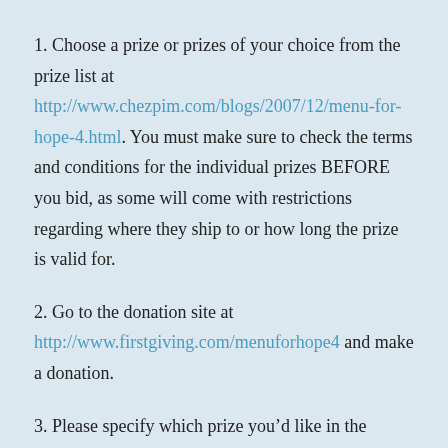1. Choose a prize or prizes of your choice from the prize list at http://www.chezpim.com/blogs/2007/12/menu-for-hope-4.html. You must make sure to check the terms and conditions for the individual prizes BEFORE you bid, as some will come with restrictions regarding where they ship to or how long the prize is valid for.
2. Go to the donation site at http://www.firstgiving.com/menuforhope4 and make a donation.
3. Please specify which prize you’d like in the ‘Personal Message’ section in the donation form when confirming your donation. You must write in how many tickets per prize, and please use the prize code. The code for my prize